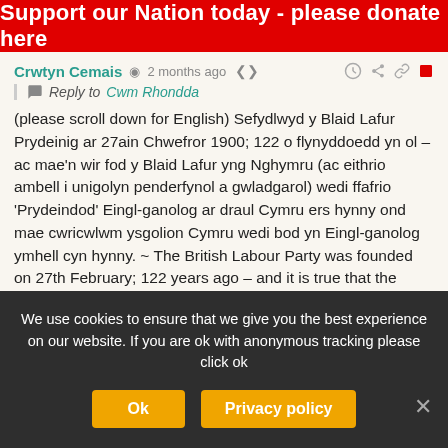Support our Nation today - please donate here
Crwtyn Cemais  2 months ago
Reply to Cwm Rhondda
(please scroll down for English) Sefydlwyd y Blaid Lafur Prydeinig ar 27ain Chwefror 1900; 122 o flynyddoedd yn ol – ac mae'n wir fod y Blaid Lafur yng Nghymru (ac eithrio ambell i unigolyn penderfynol a gwladgarol) wedi ffafrio 'Prydeindod' Eingl-ganolog ar draul Cymru ers hynny ond mae cwricwlwm ysgolion Cymru wedi bod yn Eingl-ganolog ymhell cyn hynny. ~ The British Labour Party was founded on 27th February; 122 years ago – and it is true that the Labour Party in Wales has (with the exception of a few determined and patriotic
We use cookies to ensure that we give you the best experience on our website. If you are ok with anonymous tracking please click ok
Ok
Privacy policy